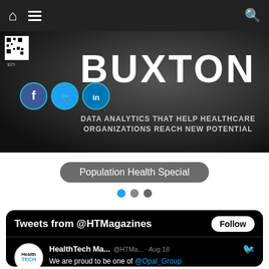Navigation bar with home, menu, and search icons
[Figure (screenshot): Buxton advertisement banner: BUXTON logo in large white text, DATA ANALYTICS THAT HELP HEALTHCARE ORGANIZATIONS REACH NEW POTENTIAL subtitle, social media icons (Facebook, Twitter, LinkedIn), and QR code on dark background]
Population Health Special
[Figure (infographic): Carousel navigation dots: one blue (active) and two gray dots]
[Figure (screenshot): Twitter widget showing Tweets from @HTMagazines with Follow button. Tweet from HealthTech Ma... @HTMa... Aug 18: We are proud to be one of @Opal_Group media partners for the Chief Nursing Officer Summit. This summit will feature high-level]